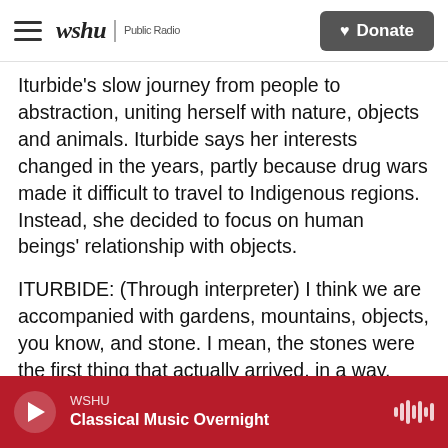wshu | Public Radio  [Donate]
Iturbide's slow journey from people to abstraction, uniting herself with nature, objects and animals. Iturbide says her interests changed in the years, partly because drug wars made it difficult to travel to Indigenous regions. Instead, she decided to focus on human beings' relationship with objects.
ITURBIDE: (Through interpreter) I think we are accompanied with gardens, mountains, objects, you know, and stone. I mean, the stones were the first thing that actually arrived, in a way, after the Big Bang. And I'm very interested in everything that has to do with life, with everything that surrounds
WSHU  Classical Music Overnight